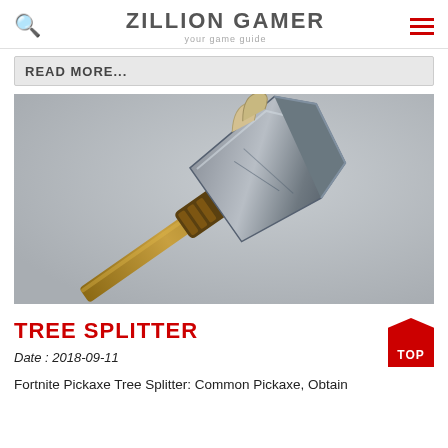ZILLION GAMER
your game guide
READ MORE...
[Figure (photo): A Fortnite pickaxe called the Tree Splitter — a wooden-handled axe with a large steel blade and bone/antler decorations, photographed against a grey background.]
TREE SPLITTER
Date : 2018-09-11
Fortnite Pickaxe Tree Splitter: Common Pickaxe, Obtain